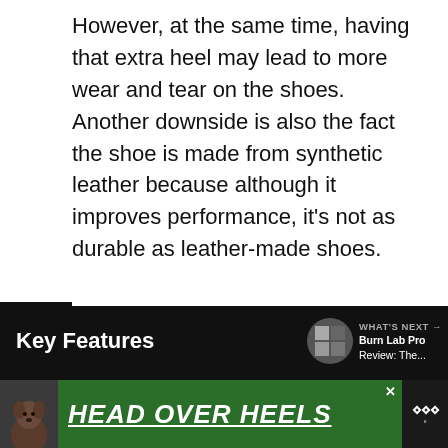However, at the same time, having that extra heel may lead to more wear and tear on the shoes. Another downside is also the fact the shoe is made from synthetic leather because although it improves performance, it's not as durable as leather-made shoes.
That being said, it's something that can be minimized by taking good care of the shoes.
[Figure (screenshot): Bottom UI bar showing 'Key Features' section header in white text on black background, with a circular thumbnail and 'WHAT'S NEXT → Burn Lab Pro Review: The...' text]
[Figure (screenshot): Advertisement banner with dog image, green background, 'HEAD OVER HEELS' text in large white italic underlined font, close button X, and music streaming logo]